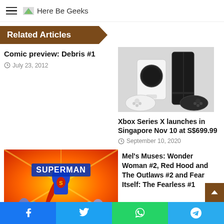Here Be Geeks
Related Articles
Comic preview: Debris #1
July 23, 2012
[Figure (photo): Xbox Series X (tall black console) and Xbox Series S (small white console) with two controllers on a white background]
Xbox Series X launches in Singapore Nov 10 at S$699.99
September 10, 2020
[Figure (photo): Superman comic book cover art with Superman flying, colorful action scene with the word SUPERMAN in large text]
Mel's Muses: Wonder Woman #2, Red Hood and The Outlaws #2 and Fear Itself: The Fearless #1